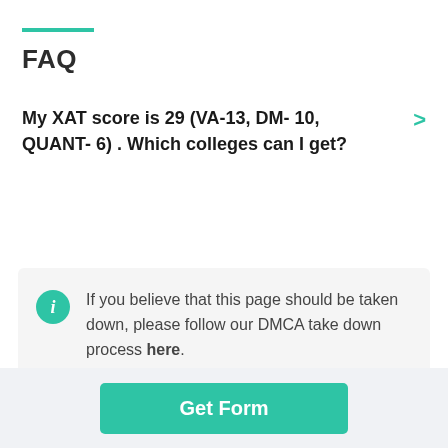FAQ
My XAT score is 29 (VA-13, DM- 10, QUANT- 6) . Which colleges can I get?
If you believe that this page should be taken down, please follow our DMCA take down process here.
Get Form